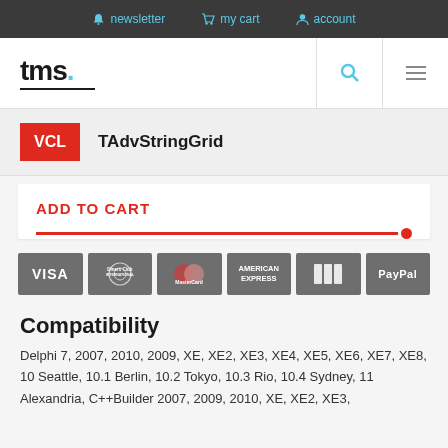newsletter   my cart   account
[Figure (logo): tms. logo with blue dot and black underline]
VCL   TAdvStringGrid
ADD TO CART
[Figure (infographic): Payment method icons: VISA, Diners Club International, MasterCard, American Express, JCB, PayPal]
Compatibility
Delphi 7, 2007, 2010, 2009, XE, XE2, XE3, XE4, XE5, XE6, XE7, XE8, 10 Seattle, 10.1 Berlin, 10.2 Tokyo, 10.3 Rio, 10.4 Sydney, 11 Alexandria, C++Builder 2007, 2009, 2010, XE, XE2, XE3,